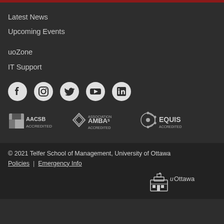Latest News
Upcoming Events
uoZone
IT Support
[Figure (infographic): Row of 5 social media icons: Facebook, Instagram, Twitter, YouTube, LinkedIn]
[Figure (logo): AACSB Accredited logo, AMBA Association Accredited logo, EQUIS Accredited logo]
© 2021 Telfer School of Management, University of Ottawa
Policies | Emergency Info
[Figure (logo): University of Ottawa uOttawa logo]